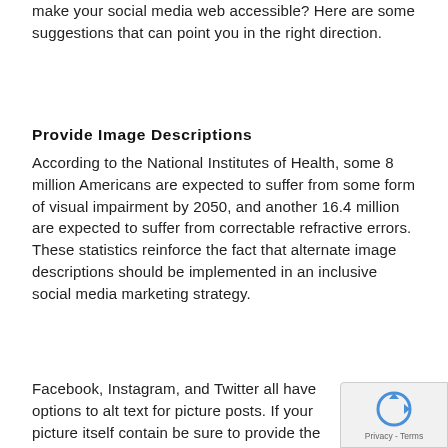make your social media web accessible? Here are some suggestions that can point you in the right direction.
Provide Image Descriptions
According to the National Institutes of Health, some 8 million Americans are expected to suffer from some form of visual impairment by 2050, and another 16.4 million are expected to suffer from correctable refractive errors. These statistics reinforce the fact that alternate image descriptions should be implemented in an inclusive social media marketing strategy.
Facebook, Instagram, and Twitter all have options to alt text for picture posts. If your picture itself contain be sure to provide the full text in a caption or alterna description.